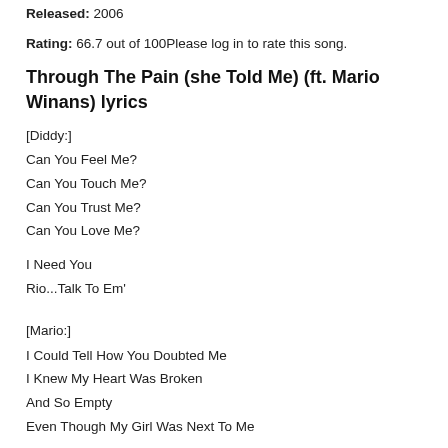Released: 2006
Rating: 66.7 out of 100Please log in to rate this song.
Through The Pain (she Told Me) (ft. Mario Winans) lyrics
[Diddy:]
Can You Feel Me?
Can You Touch Me?
Can You Trust Me?
Can You Love Me?
I Need You
Rio...Talk To Em'
[Mario:]
I Could Tell How You Doubted Me
I Knew My Heart Was Broken
And So Empty
Even Though My Girl Was Next To Me